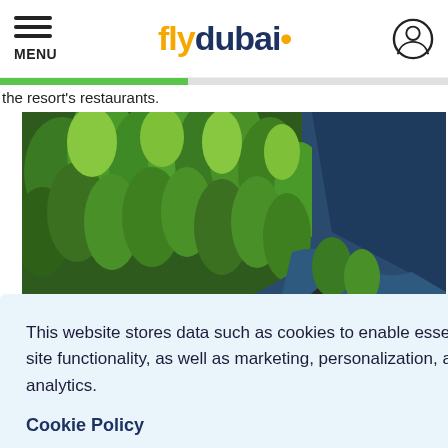MENU | flydubai• | [user icon]
the resort's restaurants.
[Figure (photo): Aerial view of dense green pine forest next to a large dark blue lake, with a small dark cabin/structure visible near the water's edge]
This website stores data such as cookies to enable essential site functionality, as well as marketing, personalization, and analytics.
Cookie Policy
Accept
Deny
l hopping
tour in Beirut